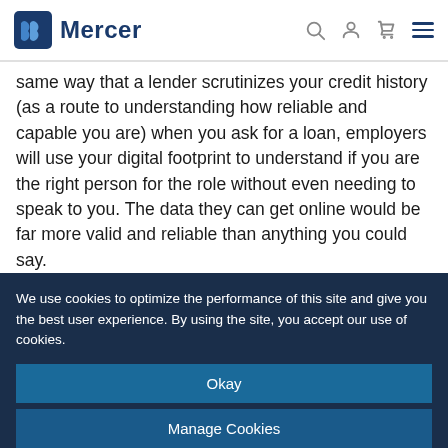Mercer
same way that a lender scrutinizes your credit history (as a route to understanding how reliable and capable you are) when you ask for a loan, employers will use your digital footprint to understand if you are the right person for the role without even needing to speak to you. The data they can get online would be far more valid and reliable than anything you could say.
Of course, the crucial prerequisite is that you have a
We use cookies to optimize the performance of this site and give you the best user experience. By using the site, you accept our use of cookies.
Okay
Manage Cookies